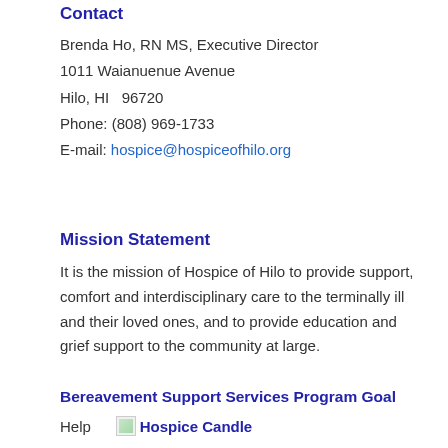Contact
Brenda Ho, RN MS, Executive Director
1011 Waianuenue Avenue
Hilo, HI  96720
Phone: (808) 969-1733
E-mail: hospice@hospiceofhilo.org
Mission Statement
It is the mission of Hospice of Hilo to provide support, comfort and interdisciplinary care to the terminally ill and their loved ones, and to provide education and grief support to the community at large.
Bereavement Support Services Program Goal
Help
[Figure (photo): Hospice Candle image with caption text 'Hospice Candle']